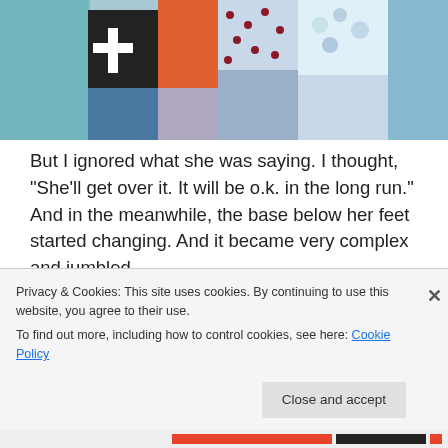[Figure (photo): Close-up photo of a colorful patchwork quilt showing various fabric patches in blue, teal, black with number/letter patterns, orange, red with dots, and white with flower pattern.]
But I ignored what she was saying. I thought, “She’ll get over it. It will be o.k. in the long run.” And in the meanwhile, the base below her feet started changing. And it became very complex and jumbled.
[Figure (photo): Photo of a worn denim or blue fabric piece with metal grommets/eyelets on each end, lying on a tan/beige background.]
Privacy & Cookies: This site uses cookies. By continuing to use this website, you agree to their use.
To find out more, including how to control cookies, see here: Cookie Policy
Close and accept